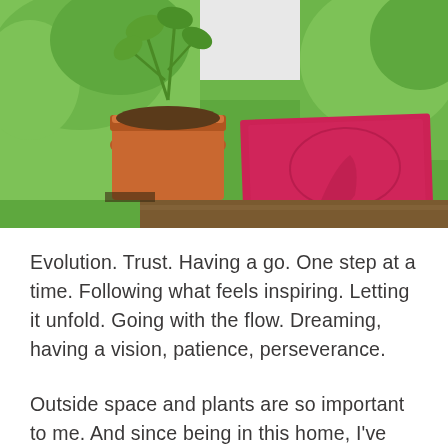[Figure (photo): Outdoor garden scene showing a terracotta plant pot with green leafy plant, a pink/red yoga mat or board on the ground, surrounded by green grass and garden plants in bright sunlight.]
Evolution. Trust. Having a go. One step at a time. Following what feels inspiring. Letting it unfold. Going with the flow. Dreaming, having a vision, patience, perseverance.
Outside space and plants are so important to me. And since being in this home, I've loved tweaking, pottering, designing, creating and being in this space. But it wasn't a dramatic makeover. And it didn't happen overnight. And to be honest, I didn't have an overall vision at first.